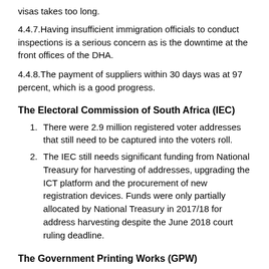visas takes too long.
4.4.7.Having insufficient immigration officials to conduct inspections is a serious concern as is the downtime at the front offices of the DHA.
4.4.8.The payment of suppliers within 30 days was at 97 percent, which is a good progress.
The Electoral Commission of South Africa (IEC)
There were 2.9 million registered voter addresses that still need to be captured into the voters roll.
The IEC still needs significant funding from National Treasury for harvesting of addresses, upgrading the ICT platform and the procurement of new registration devices. Funds were only partially allocated by National Treasury in 2017/18 for address harvesting despite the June 2018 court ruling deadline.
The Government Printing Works (GPW)
The GPW was expanding to the African market for